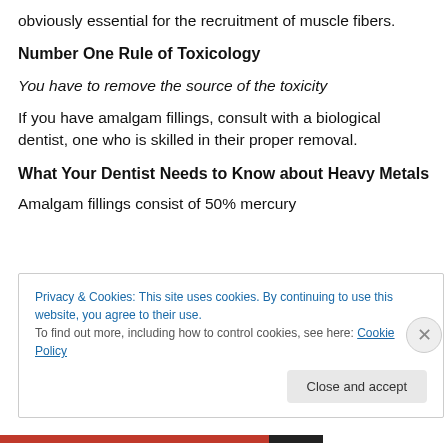obviously essential for the recruitment of muscle fibers.
Number One Rule of Toxicology
You have to remove the source of the toxicity
If you have amalgam fillings, consult with a biological dentist, one who is skilled in their proper removal.
What Your Dentist Needs to Know about Heavy Metals
Amalgam fillings consist of 50% mercury
Privacy & Cookies: This site uses cookies. By continuing to use this website, you agree to their use.
To find out more, including how to control cookies, see here: Cookie Policy
Close and accept